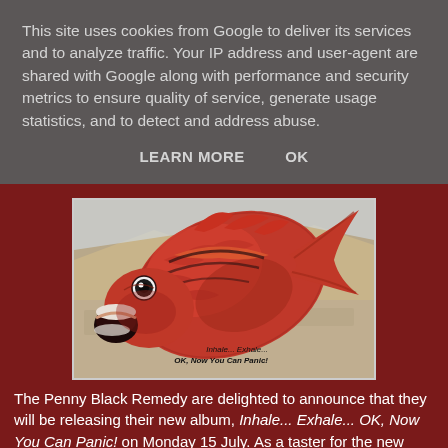This site uses cookies from Google to deliver its services and to analyze traffic. Your IP address and user-agent are shared with Google along with performance and security metrics to ensure quality of service, generate usage statistics, and to detect and address abuse.
LEARN MORE   OK
[Figure (illustration): Close-up illustration of a large red fish with its mouth open and a surprised expression, with text overlay reading 'Inhale... Exhale... OK, Now You Can Panic!']
The Penny Black Remedy are delighted to announce that they will be releasing their new album, Inhale... Exhale... OK, Now You Can Panic! on Monday 15 July. As a taster for the new album, the song 'Some People Just Don't Know When To Quit' is available as a download single from today (Monday 13 May), accompanied by the exclusive non-album B-Side, 'Miserlou' (TPBR's unique take on the Dick Dale